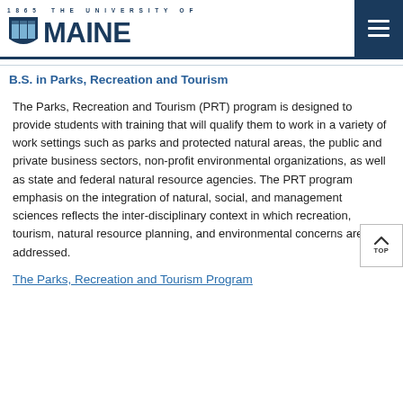1865 THE UNIVERSITY OF MAINE
B.S. in Parks, Recreation and Tourism
The Parks, Recreation and Tourism (PRT) program is designed to provide students with training that will qualify them to work in a variety of work settings such as parks and protected natural areas, the public and private business sectors, non-profit environmental organizations, as well as state and federal natural resource agencies. The PRT program emphasis on the integration of natural, social, and management sciences reflects the inter-disciplinary context in which recreation, tourism, natural resource planning, and environmental concerns are addressed.
The Parks, Recreation and Tourism Program